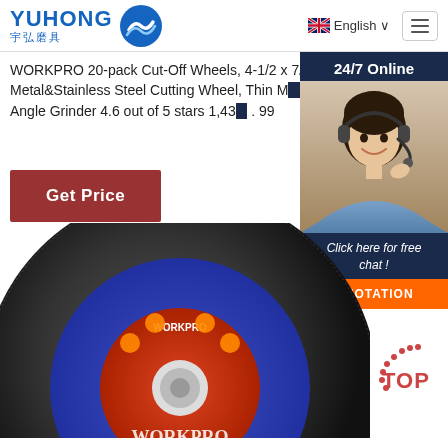[Figure (logo): YUHONG 宇弘磨具 logo with blue wave/globe icon]
English ∨
WORKPRO 20-pack Cut-Off Wheels, 4-1/2 x 7/8-inch Metal&Stainless Steel Cutting Wheel, Thin M... Disc for Angle Grinder 4.6 out of 5 stars 1,43... . 99
Get Price
[Figure (infographic): 24/7 Online chat widget with customer service representative photo, 'Click here for free chat!' text, and QUOTATION button]
[Figure (photo): Cut-off wheel / grinding disc product photo showing dark abrasive wheel with WORKPRO label]
[Figure (other): TOP badge with dotted arc in bottom right corner]